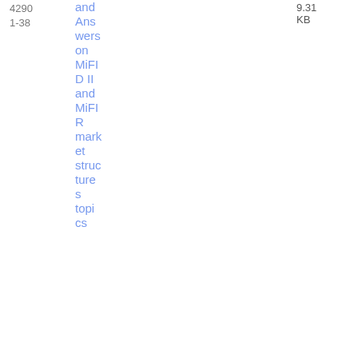4290
1-38
and Answers on MiFID II and MiFIR market structures topics
9.31 KB
19/07/2022
ESMA 70-1861 9414 80-56
Q&A on MiFIR data
MiFID - Secondary Markets
Q&A
PDF
1.12 MB
Supervisory convergence